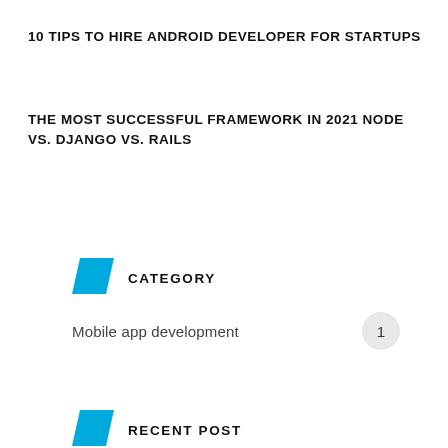10 TIPS TO HIRE ANDROID DEVELOPER FOR STARTUPS
THE MOST SUCCESSFUL FRAMEWORK IN 2021 NODE VS. DJANGO VS. RAILS
CATEGORY
Mobile app development
1
RECENT POST